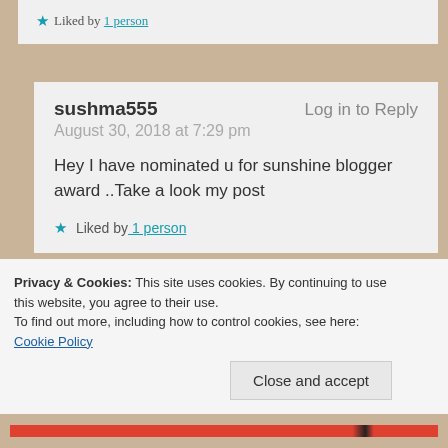★ Liked by 1 person
sushma555   Log in to Reply
August 30, 2018 at 7:29 pm

Hey I have nominated u for sunshine blogger award ..Take a look my post

★ Liked by 1 person
Neha Sharma
Privacy & Cookies: This site uses cookies. By continuing to use this website, you agree to their use.
To find out more, including how to control cookies, see here: Cookie Policy
Close and accept